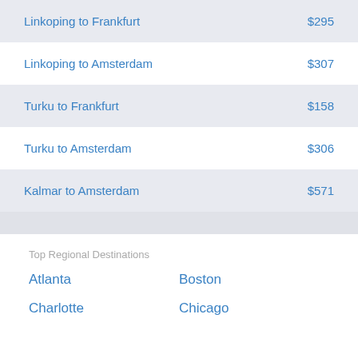| Route | Price |
| --- | --- |
| Linkoping to Frankfurt | $295 |
| Linkoping to Amsterdam | $307 |
| Turku to Frankfurt | $158 |
| Turku to Amsterdam | $306 |
| Kalmar to Amsterdam | $571 |
Top Regional Destinations
Atlanta
Boston
Charlotte
Chicago